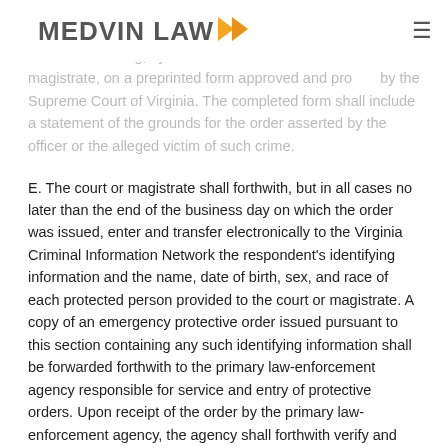MEDVIN LAW
protective order issued pursuant to this section shall be reduced to writing, by the officer or the magistrate on a preprinted form approved and provided by the Supreme Court of Virginia. The completed form shall include a statement of the grounds for the order asserted by the officer or the alleged victim of such crime.
E. The court or magistrate shall forthwith, but in all cases no later than the end of the business day on which the order was issued, enter and transfer electronically to the Virginia Criminal Information Network the respondent's identifying information and the name, date of birth, sex, and race of each protected person provided to the court or magistrate. A copy of an emergency protective order issued pursuant to this section containing any such identifying information shall be forwarded forthwith to the primary law-enforcement agency responsible for service and entry of protective orders. Upon receipt of the order by the primary law-enforcement agency, the agency shall forthwith verify and enter any modification as necessary to the identifying information and other appropriate information required by the Department of State Police into the Virginia Criminal Information Network established and maintained by the Department pursuant to Chapter 2 (§ 52-12 et seq.) of Title 52 and the agency shall be consistent with the requirements adopted by the